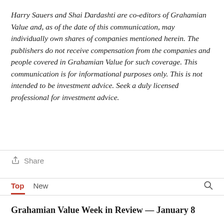Harry Sauers and Shai Dardashti are co-editors of Grahamian Value and, as of the date of this communication, may individually own shares of companies mentioned herein. The publishers do not receive compensation from the companies and people covered in Grahamian Value for such coverage. This communication is for informational purposes only. This is not intended to be investment advice. Seek a duly licensed professional for investment advice.
Share
Top   New
Grahamian Value Week in Review — January 8